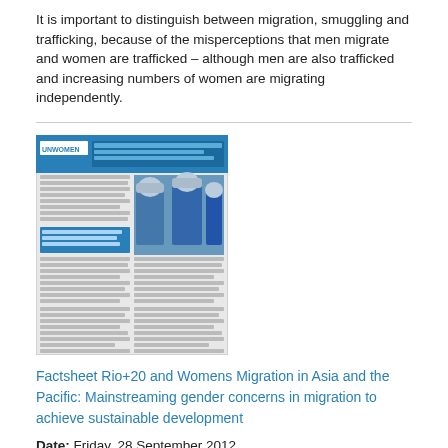It is important to distinguish between migration, smuggling and trafficking, because of the misperceptions that men migrate and women are trafficked – although men are also trafficked and increasing numbers of women are migrating independently.
[Figure (screenshot): Thumbnail image of a factsheet document with blue header reading UN Women, showing people wearing hard hats and text columns below]
Factsheet Rio+20 and Womens Migration in Asia and the Pacific: Mainstreaming gender concerns in migration to achieve sustainable development
Date: Friday, 28 September 2012
International migration, especially of women migrant workers is driven by, among other factors: the search for decent jobs (Priority 1); access to resources including energy sources and water (Priorities 2 and 5); the urbanization drive that sees men and women and their families migrate internationally from rural areas in countries of origin to cities in countries of destination (Priority 3); food insecurity and unsustainable agricultural systems (Priority 4);